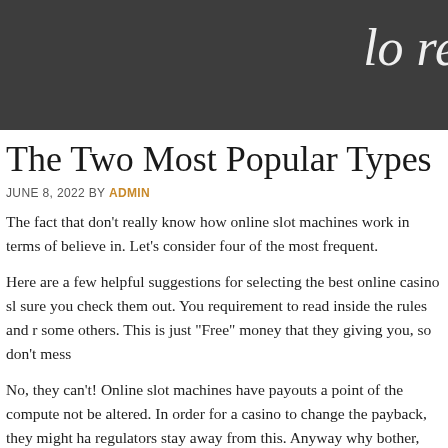lo re
The Two Most Popular Types Of Sl
JUNE 8, 2022 BY ADMIN
The fact that don't really know how online slot machines work in terms of believe in. Let's consider four of the most frequent.
Here are a few helpful suggestions for selecting the best online casino sl sure you check them out. You requirement to read inside the rules and r some others. This is just "Free" money that they giving you, so don't mess
No, they can't! Online slot machines have payouts a point of the compute not be altered. In order for a casino to change the payback, they might ha regulators stay away from this. Anyway why bother, the house edge could payback before playing, and make certain you do have the best payback b